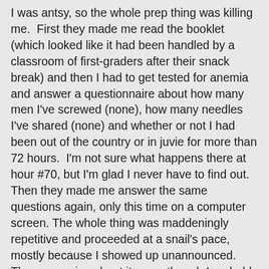I was antsy, so the whole prep thing was killing me.  First they made me read the booklet (which looked like it had been handled by a classroom of first-graders after their snack break) and then I had to get tested for anemia and answer a questionnaire about how many men I've screwed (none), how many needles I've shared (none) and whether or not I had been out of the country or in juvie for more than 72 hours.  I'm not sure what happens there at hour #70, but I'm glad I never have to find out.  Then they made me answer the same questions again, only this time on a computer screen. The whole thing was maddeningly repetitive and proceeded at a snail's pace, mostly because I showed up unannounced.  They were nice about it, even though I probably screwed up their schedule a little bit.  They say they take walk-ins but I'm not sure they actually like to.
They finally hooked me up, and luckily the 12-year-old girl who put the needle in my arm was pretty good at it, and I dropped a pint in a little over six minutes, which I think was a new record for me. Apparently even my blood was in a hurry to get the hell out of there.  As she was disconnecting me from the apparatus, she hit me in the eye with an errant hose